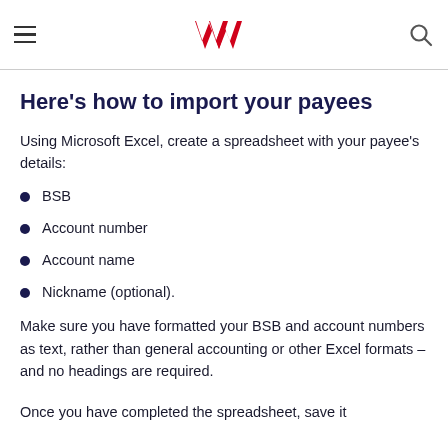Westpac navigation header
Here's how to import your payees
Using Microsoft Excel, create a spreadsheet with your payee's details:
BSB
Account number
Account name
Nickname (optional).
Make sure you have formatted your BSB and account numbers as text, rather than general accounting or other Excel formats – and no headings are required.
Once you have completed the spreadsheet, save it